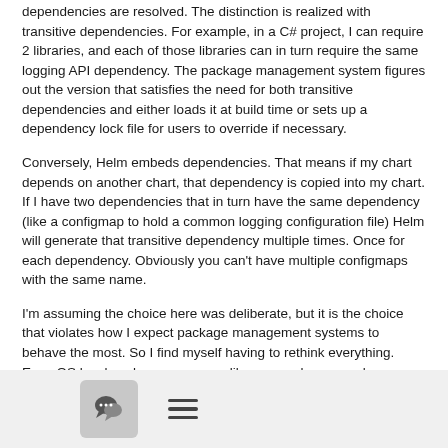dependencies are resolved.  The distinction is realized with transitive dependencies.  For example, in a C# project, I can require 2 libraries, and each of those libraries can in turn require the same logging API dependency.  The package management system figures out the version that satisfies the need for both transitive dependencies and either loads it at build time or sets up a dependency lock file for users to override if necessary.
Conversely, Helm embeds dependencies.  That means if my chart depends on another chart, that dependency is copied into my chart.  If I have two dependencies that in turn have the same dependency (like a configmap to hold a common logging configuration file) Helm will generate that transitive dependency multiple times.  Once for each dependency.  Obviously you can't have multiple configmaps with the same name.
I'm assuming the choice here was deliberate, but it is the choice that violates how I expect package management systems to behave the most.  So I find myself having to rethink everything.  Even OS level package managers like rpm and yum resolve
[Figure (other): Footer bar with a chat/comment icon in a rounded grey box and a hamburger menu icon]